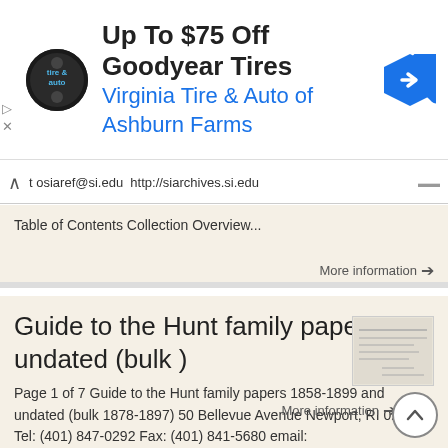[Figure (screenshot): Advertisement banner: 'Up To $75 Off Goodyear Tires' with Virginia Tire & Auto of Ashburn Farms logo and blue navigation arrow icon]
t osiaref@si.edu http://siarchives.si.edu Table of Contents Collection Overview...
More information →
Guide to the Hunt family papers and undated (bulk )
Page 1 of 7 Guide to the Hunt family papers 1858-1899 and undated (bulk 1878-1897) 50 Bellevue Avenue Newport, RI 02840 Tel: (401) 847-0292 Fax: (401) 841-5680 email: redwood@redwoodlibrary.org Published
More information →